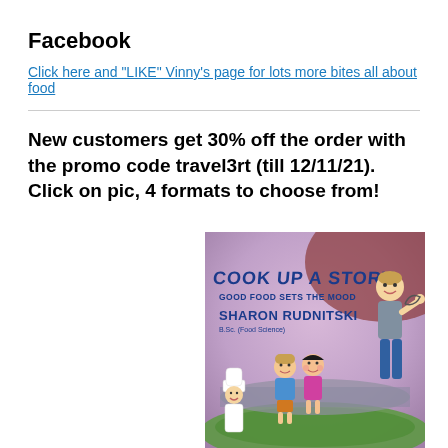Facebook
Click here and "LIKE" Vinny's page for lots more bites all about food
New customers get 30% off the order with the promo code travel3rt (till 12/11/21). Click on pic, 4 formats to choose from!
[Figure (illustration): Book cover illustration for 'Cook Up A Story: Good Food Sets The Mood' by Sharon Rudnitski, B.Sc. (Food Science), showing cartoon children and a chef character on a stylized background.]